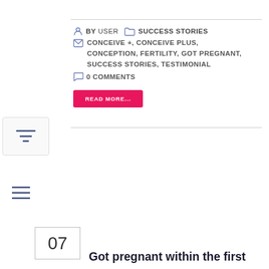BY USER  SUCCESS STORIES  CONCEIVE +, CONCEIVE PLUS, CONCEPTION, FERTILITY, GOT PREGNANT, SUCCESS STORIES, TESTIMONIAL  0 COMMENTS
READ MORE...
Got pregnant within the first